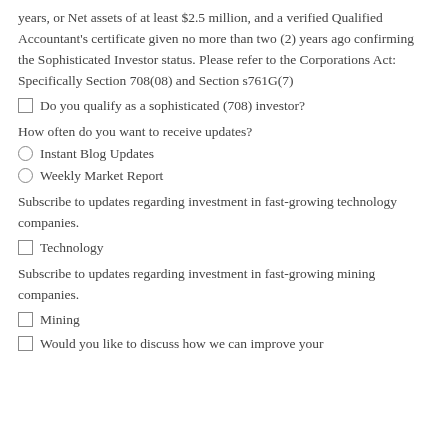years, or Net assets of at least $2.5 million, and a verified Qualified Accountant's certificate given no more than two (2) years ago confirming the Sophisticated Investor status. Please refer to the Corporations Act: Specifically Section 708(08) and Section s761G(7)
Do you qualify as a sophisticated (708) investor?
How often do you want to receive updates?
Instant Blog Updates
Weekly Market Report
Subscribe to updates regarding investment in fast-growing technology companies.
Technology
Subscribe to updates regarding investment in fast-growing mining companies.
Mining
Would you like to discuss how we can improve your